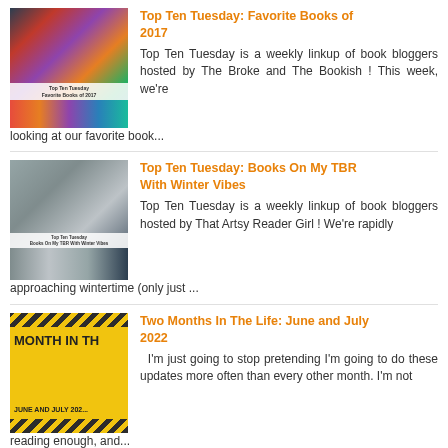Top Ten Tuesday: Favorite Books of 2017
Top Ten Tuesday is a weekly linkup of book bloggers hosted by  The Broke and The Bookish ! This week, we're looking at our favorite book...
Top Ten Tuesday: Books On My TBR With Winter Vibes
Top Ten Tuesday is a weekly linkup of book bloggers hosted by  That Artsy Reader Girl ! We're rapidly approaching wintertime (only just ...
Two Months In The Life: June and July 2022
I'm just going to stop pretending I'm going to do these updates more often than every other month. I'm not reading enough, and...